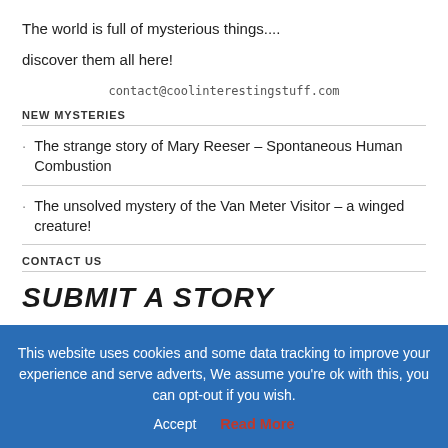The world is full of mysterious things....
discover them all here!
contact@coolinterestingstuff.com
NEW MYSTERIES
The strange story of Mary Reeser – Spontaneous Human Combustion
The unsolved mystery of the Van Meter Visitor – a winged creature!
CONTACT US
SUBMIT A STORY
This website uses cookies and some data tracking to improve your experience and serve adverts, We assume you're ok with this, you can opt-out if you wish.
Accept
Read More